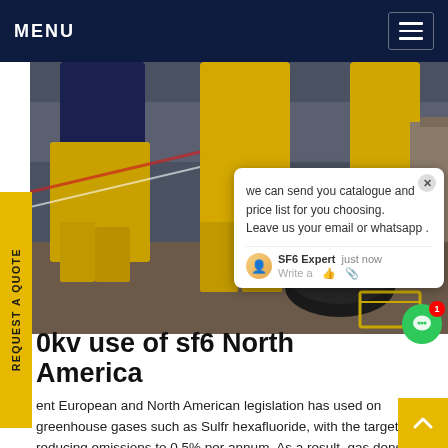MENU
[Figure (photo): Workers in yellow protective suits at an outdoor industrial site, with black equipment on the ground]
we can send you catalogue and price list for you choosing. Leave us your email or whatsapp .
SF6 Expert   just now
Write a
0kv use of sf6 North America
ent European and North American legislation has used on greenhouse gases such as Sulfr hexafluoride, with the target of reducing emissions to 0.5% per annum. As a result, gas density monitors essential to improve leakage visibility,